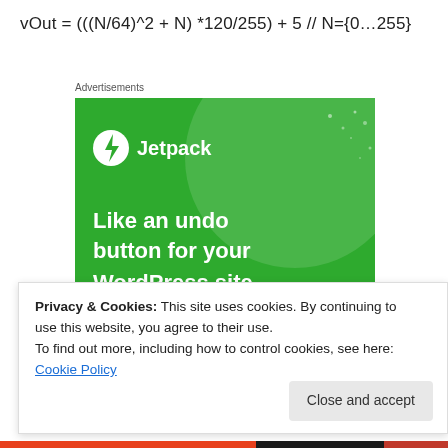Advertisements
[Figure (illustration): Jetpack advertisement banner: green background with large circle graphic, Jetpack logo (lightning bolt in circle) and text 'Like an undo button for your WordPress site']
Privacy & Cookies: This site uses cookies. By continuing to use this website, you agree to their use.
To find out more, including how to control cookies, see here: Cookie Policy
Close and accept